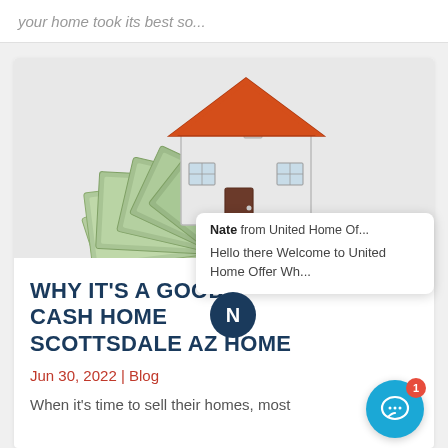your home took its best so...
[Figure (illustration): A 3D illustration of a white house with a red/orange roof sitting on top of a spread fan of US dollar bills (cash).]
WHY IT'S A GOOD CASH HOME BUYER SCOTTSDALE AZ HOME
Jun 30, 2022 | Blog
When it's time to sell their homes, most